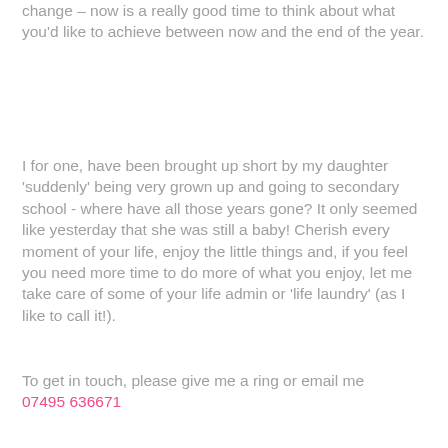change – now is a really good time to think about what you'd like to achieve between now and the end of the year.
I for one, have been brought up short by my daughter 'suddenly' being very grown up and going to secondary school - where have all those years gone? It only seemed like yesterday that she was still a baby! Cherish every moment of your life, enjoy the little things and, if you feel you need more time to do more of what you enjoy, let me take care of some of your life admin or 'life laundry' (as I like to call it!).
To get in touch, please give me a ring or email me 07495 636671